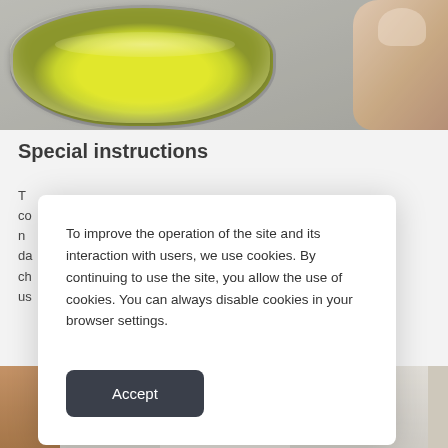[Figure (photo): Photo of a petri dish containing yellow/green substance, with fingers holding it, on a gray background]
Special instructions
T... co... n... da... ch... us...
[Figure (photo): Bottom strip showing partial images of food items on left and a person in white coat in the center]
To improve the operation of the site and its interaction with users, we use cookies. By continuing to use the site, you allow the use of cookies. You can always disable cookies in your browser settings.
Accept